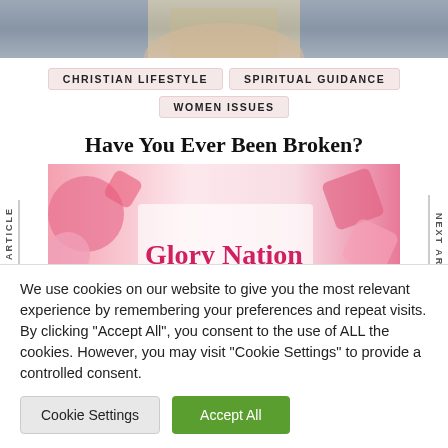[Figure (photo): Partial view of a woman's face with blonde hair, cropped at forehead and chin, top of page]
CHRISTIAN LIFESTYLE
SPIRITUAL GUIDANCE
WOMEN ISSUES
Have You Ever Been Broken?
[Figure (photo): Glory Nation banner image with pink decorative elements and the text 'Glory Nation' in red, and smaller text below it]
We use cookies on our website to give you the most relevant experience by remembering your preferences and repeat visits. By clicking "Accept All", you consent to the use of ALL the cookies. However, you may visit "Cookie Settings" to provide a controlled consent.
Cookie Settings
Accept All